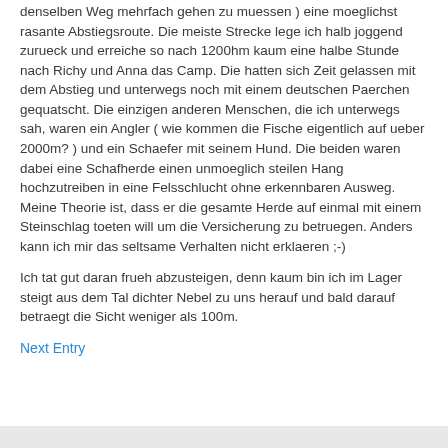denselben Weg mehrfach gehen zu muessen ) eine moeglichst rasante Abstiegsroute. Die meiste Strecke lege ich halb joggend zurueck und erreiche so nach 1200hm kaum eine halbe Stunde nach Richy und Anna das Camp. Die hatten sich Zeit gelassen mit dem Abstieg und unterwegs noch mit einem deutschen Paerchen gequatscht. Die einzigen anderen Menschen, die ich unterwegs sah, waren ein Angler ( wie kommen die Fische eigentlich auf ueber 2000m? ) und ein Schaefer mit seinem Hund. Die beiden waren dabei eine Schafherde einen unmoeglich steilen Hang hochzutreiben in eine Felsschlucht ohne erkennbaren Ausweg. Meine Theorie ist, dass er die gesamte Herde auf einmal mit einem Steinschlag toeten will um die Versicherung zu betruegen. Anders kann ich mir das seltsame Verhalten nicht erklaeren ;-)
Ich tat gut daran frueh abzusteigen, denn kaum bin ich im Lager steigt aus dem Tal dichter Nebel zu uns herauf und bald darauf betraegt die Sicht weniger als 100m.
Next Entry